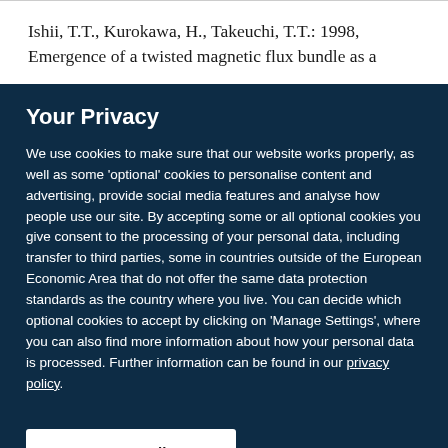Ishii, T.T., Kurokawa, H., Takeuchi, T.T.: 1998, Emergence of a twisted magnetic flux bundle as a
Your Privacy
We use cookies to make sure that our website works properly, as well as some 'optional' cookies to personalise content and advertising, provide social media features and analyse how people use our site. By accepting some or all optional cookies you give consent to the processing of your personal data, including transfer to third parties, some in countries outside of the European Economic Area that do not offer the same data protection standards as the country where you live. You can decide which optional cookies to accept by clicking on 'Manage Settings', where you can also find more information about how your personal data is processed. Further information can be found in our privacy policy.
Accept all cookies
Manage preferences